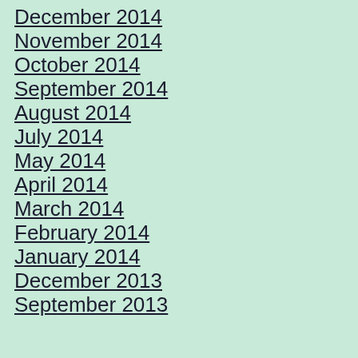December 2014
November 2014
October 2014
September 2014
August 2014
July 2014
May 2014
April 2014
March 2014
February 2014
January 2014
December 2013
September 2013